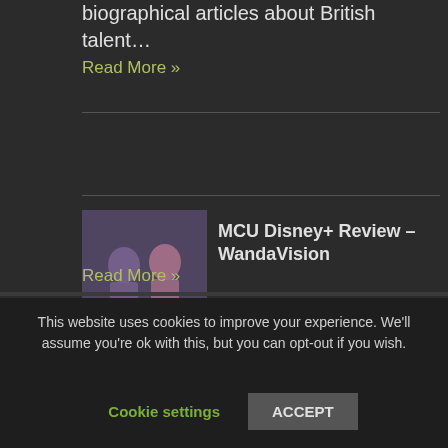biographical articles about British talent…
Read More »
MCU Disney+ Review – WandaVision
[Figure (photo): WandaVision promotional image showing two characters in black and white]
And here we go with the MCU's dive into television. Incidentally, should it still be the MCU? Or should it…
Read More »
This website uses cookies to improve your experience. We'll assume you're ok with this, but you can opt-out if you wish.
Cookie settings
ACCEPT